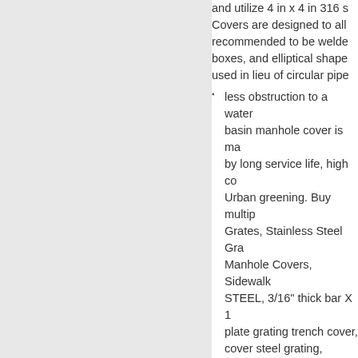and utilize 4 in x 4 in 316 s Covers are designed to all recommended to be welde boxes, and elliptical shape used in lieu of circular pipe
less obstruction to a water basin manhole cover is ma by long service life, high co Urban greening. Buy multi Grates, Stainless Steel Gra Manhole Covers, Sidewalk STEEL, 3/16" thick bar X 1 plate grating trench cover, cover steel grating, galvan outdoor uses.
Steel Road Plates | Tr
NTS steel road plates may grade steel. 12 various siz applications. A variety of ph
Type of steel slot cover Po